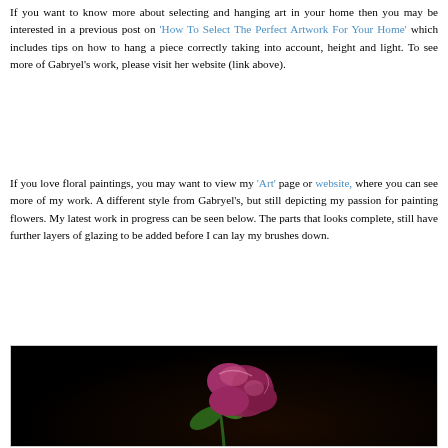If you want to know more about selecting and hanging art in your home then you may be interested in a previous post on 'How To Select The Perfect Artwork For Your Home' which includes tips on how to hang a piece correctly taking into account, height and light. To see more of Gabryel's work, please visit her website (link above).
If you love floral paintings, you may want to view my 'Art' page or website, where you can see more of my work. A different style from Gabryel's, but still depicting my passion for painting flowers. My latest work in progress can be seen below. The parts that looks complete, still have further layers of glazing to be added before I can lay my brushes down.
[Figure (photo): A floral painting showing a rose with pink/magenta petals and green leaves against a very dark/black background. Work in progress.]